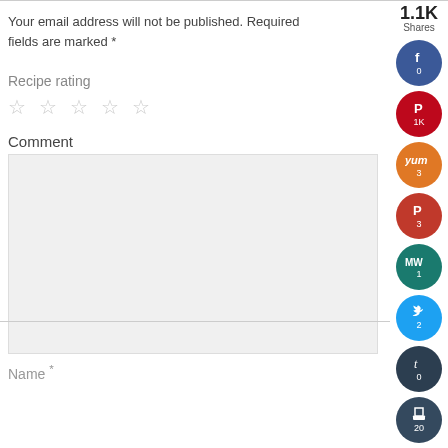Your email address will not be published. Required fields are marked *
Recipe rating
☆ ☆ ☆ ☆ ☆
Comment
[Figure (other): Comment text area input box, light gray background]
Name *
[Figure (infographic): Social share sidebar with 1.1K Shares, buttons for Facebook (0), Pinterest (1K), Yummly (3), another red button (3), MW teal button (1), Twitter (2), Tumblr (0), Print (20), Email]